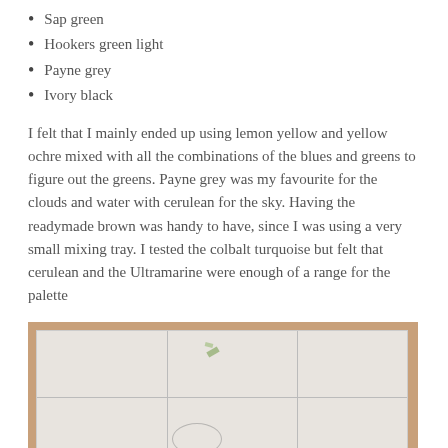Sap green
Hookers green light
Payne grey
Ivory black
I felt that I mainly ended up using lemon yellow and yellow ochre mixed with all the combinations of the blues and greens to figure out the greens. Payne grey was my favourite for the clouds and water with cerulean for the sky. Having the readymade brown was handy to have, since I was using a very small mixing tray. I tested the colbalt turquoise but felt that cerulean and the Ultramarine were enough of a range for the palette
[Figure (photo): A photograph of a white ceramic or plastic mixing palette/tray with multiple compartments, sitting on a brown wooden surface. The palette shows faint paint marks and has a grid of rectangular wells.]